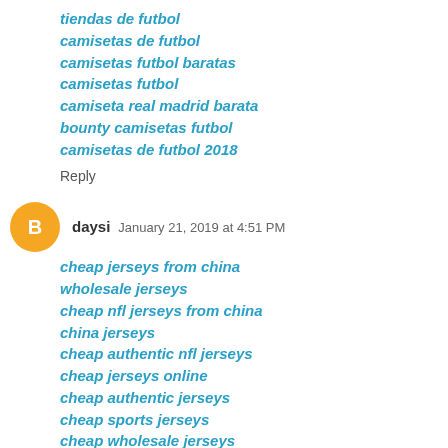tiendas de futbol
camisetas de futbol
camisetas futbol baratas
camisetas futbol
camiseta real madrid barata
bounty camisetas futbol
camisetas de futbol 2018
Reply
daysi  January 21, 2019 at 4:51 PM
cheap jerseys from china
wholesale jerseys
cheap nfl jerseys from china
china jerseys
cheap authentic nfl jerseys
cheap jerseys online
cheap authentic jerseys
cheap sports jerseys
cheap wholesale jerseys
cheap authentic jerseys from china